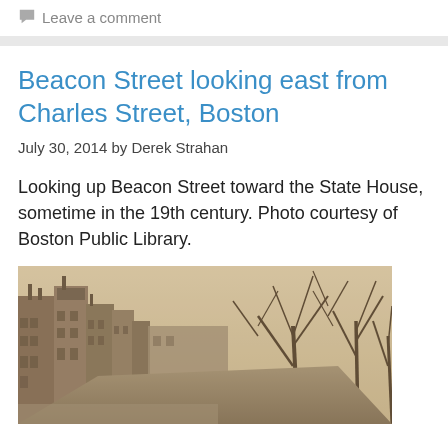Leave a comment
Beacon Street looking east from Charles Street, Boston
July 30, 2014 by Derek Strahan
Looking up Beacon Street toward the State House, sometime in the 19th century. Photo courtesy of Boston Public Library.
[Figure (photo): Sepia-toned historical photograph of Beacon Street, Boston, looking east, showing 19th century row houses on the left and bare trees on the right.]